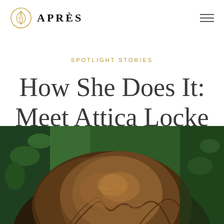APRÈS
SPOTLIGHT STORIES
How She Does It: Meet Attica Locke
[Figure (photo): Close-up photograph of a person's natural loc'd hair against a green background, showing the texture and detail of the locs in warm brown tones.]